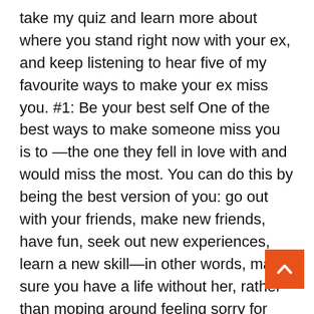take my quiz and learn more about where you stand right now with your ex, and keep listening to hear five of my favourite ways to make your ex miss you. #1: Be your best self One of the best ways to make someone miss you is to —the one they fell in love with and would miss the most. You can do this by being the best version of you: go out with your friends, make new friends, have fun, seek out new experiences, learn a new skill—in other words, make sure you have a life without her, rather than moping around feeling sorry for yourself and having nothing to offer her if she were to come back to you. #2: Show her what she's missing Now that you're doing fun and awesome things you're embodying the attributes that will make you a desirable person—to her and to other women. When you go out with your friends, have new experiences and learn new skills make sure that they're visible—